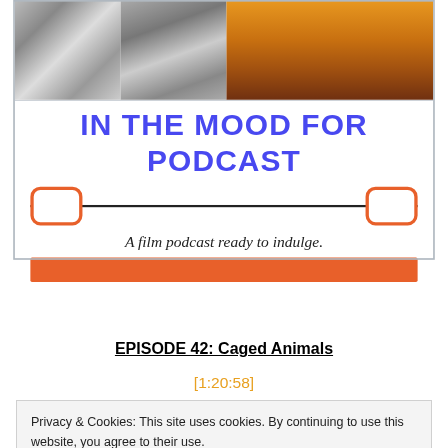[Figure (illustration): Podcast banner for 'In The Mood For Podcast' showing a photo collage at top (black and white romantic scene on left, warm orange/sunset scene on right), bold blue title text, decorative divider with orange rounded rectangles, italic tagline 'A film podcast ready to indulge.', and an orange bar at the bottom]
EPISODE 42: Caged Animals
[1:20:58]
Privacy & Cookies: This site uses cookies. By continuing to use this website, you agree to their use.
To find out more, including how to control cookies, see here: Cookie Policy